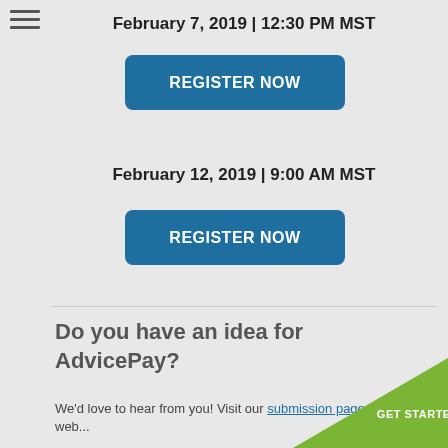February 7, 2019 | 12:30 PM MST
[Figure (other): Blue rounded button with text REGISTER NOW]
February 12, 2019 | 9:00 AM MST
[Figure (other): Blue rounded button with text REGISTER NOW]
Do you have an idea for AdvicePay?
We'd love to hear from you! Visit our submission page on our web...
[Figure (other): Green triangle GET STARTED badge in bottom-right corner]